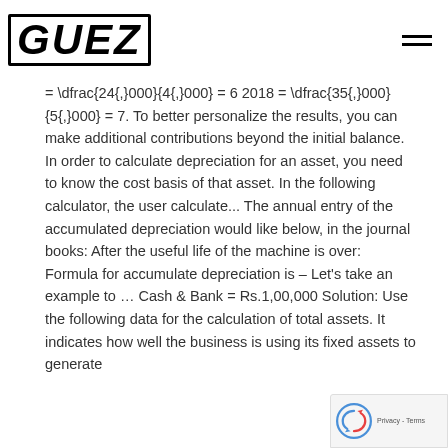GUEZ
= \dfrac{24{,}000}{4{,}000} = 6 2018 = \dfrac{35{,}000}{5{,}000} = 7. To better personalize the results, you can make additional contributions beyond the initial balance. In order to calculate depreciation for an asset, you need to know the cost basis of that asset. In the following calculator, the user calculate... The annual entry of the accumulated depreciation would like below, in the journal books: After the useful life of the machine is over: Formula for accumulate depreciation is – Let’s take an example to … Cash & Bank = Rs.1,00,000 Solution: Use the following data for the calculation of total assets. It indicates how well the business is using its fixed assets to generate